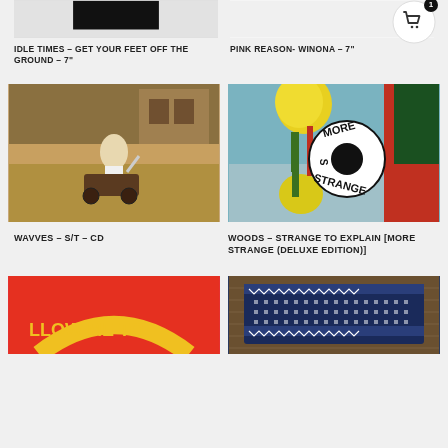[Figure (photo): Partial top image of Idle Times record]
IDLE TIMES – GET YOUR FEET OFF THE GROUND – 7"
[Figure (photo): Partial top image of Pink Reason record]
[Figure (photo): Cart icon with badge showing 1]
PINK REASON- WINONA – 7"
[Figure (photo): Wavves S/T CD album cover – vintage photo of child with lawnmower]
[Figure (photo): Woods – Strange to Explain [More Strange (Deluxe Edition)] album cover – colorful painting with flowers, trees, and More Strange logo]
WAVVES – S/T – CD
WOODS – STRANGE TO EXPLAIN [MORE STRANGE (DELUXE EDITION)]
[Figure (photo): Partial bottom-left image – red background with yellow text 'LLOW ME TO']
[Figure (photo): Partial bottom-right image – dark blue woven patch on wooden surface]